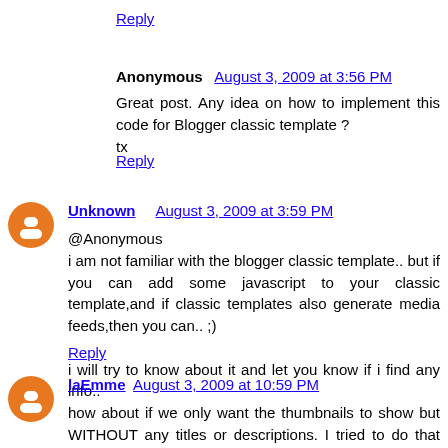Reply
Anonymous  August 3, 2009 at 3:56 PM
Great post. Any idea on how to implement this code for Blogger classic template ?
tx
Reply
Unknown  August 3, 2009 at 3:59 PM
@Anonymous
i am not familiar with the blogger classic template.. but if you can add some javascript to your classic template,and if classic templates also generate media feeds,then you can.. ;)

i will try to know about it and let you know if i find any info..
Reply
laEmme  August 3, 2009 at 10:59 PM
how about if we only want the thumbnails to show but WITHOUT any titles or descriptions. I tried to do that from a couple of tutorials i found online, but I filed miserably :/ any